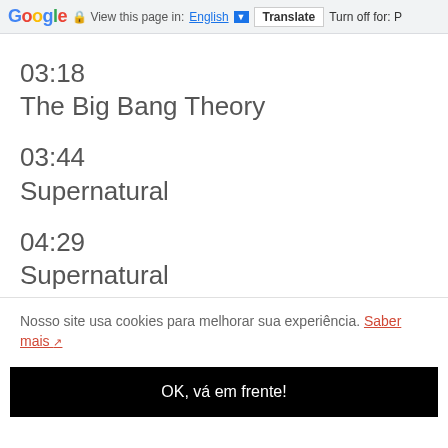Google  View this page in: English  Translate  Turn off for: P
03:18
The Big Bang Theory
03:44
Supernatural
04:29
Supernatural
Nosso site usa cookies para melhorar sua experiência. Saber mais
OK, vá em frente!